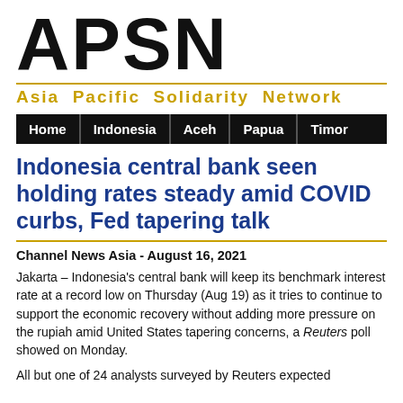[Figure (logo): APSN logo — large bold black letters 'APSN' with gold divider line and tagline 'Asia Pacific Solidarity Network' in gold bold text]
Home | Indonesia | Aceh | Papua | Timor
Indonesia central bank seen holding rates steady amid COVID curbs, Fed tapering talk
Channel News Asia - August 16, 2021
Jakarta – Indonesia's central bank will keep its benchmark interest rate at a record low on Thursday (Aug 19) as it tries to continue to support the economic recovery without adding more pressure on the rupiah amid United States tapering concerns, a Reuters poll showed on Monday.
All but one of 24 analysts surveyed by Reuters expected